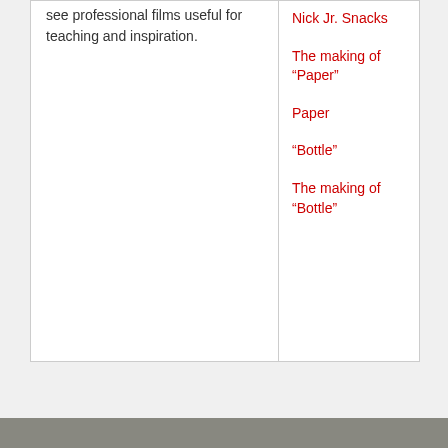see professional films useful for teaching and inspiration.
Nick Jr. Snacks
The making of “Paper”
Paper
“Bottle”
The making of “Bottle”